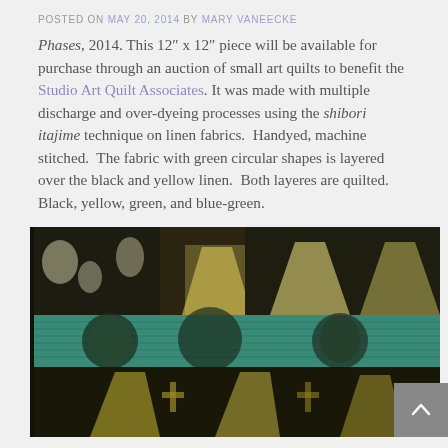POSTED ON MAY 20, 2014 BY MARY VANEECKE
Phases, 2014.  This 12″ x 12″ piece will be available for purchase through an auction of small art quilts to benefit the Studio Art Quilt Associates.  It was made with multiple discharge and over-dyeing processes using the shibori itajime technique on linen fabrics.  Handyed, machine stitched.  The fabric with green circular shapes is layered over the black and yellow linen.  Both layeres are quilted.   Black, yellow, green, and blue-green.
[Figure (photo): Close-up photograph of a small art quilt (Phases, 2014) showing black and yellow linen with green circular shapes, teal/blue-green band, and shibori-dyed patterns.]